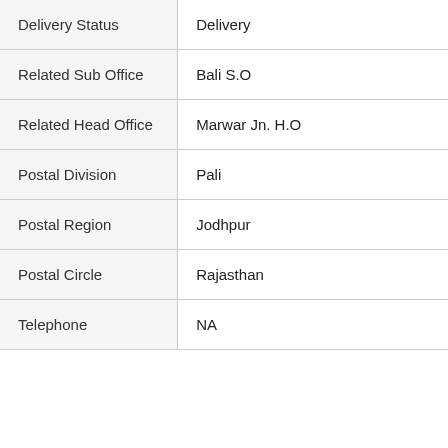| Field | Value |
| --- | --- |
| Delivery Status | Delivery |
| Related Sub Office | Bali S.O |
| Related Head Office | Marwar Jn. H.O |
| Postal Division | Pali |
| Postal Region | Jodhpur |
| Postal Circle | Rajasthan |
| Telephone | NA |